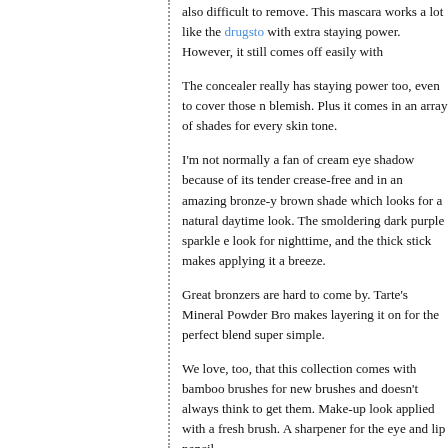also difficult to remove. This mascara works a lot like the drugsto with extra staying power. However, it still comes off easily with
The concealer really has staying power too, even to cover those n blemish. Plus it comes in an array of shades for every skin tone.
I'm not normally a fan of cream eye shadow because of its tender crease-free and in an amazing bronze-y brown shade which looks for a natural daytime look. The smoldering dark purple sparkle e look for nighttime, and the thick stick makes applying it a breeze.
Great bronzers are hard to come by. Tarte's Mineral Powder Bro makes layering it on for the perfect blend super simple.
We love, too, that this collection comes with bamboo brushes for new brushes and doesn't always think to get them. Make-up look applied with a fresh brush. A sharpener for the eye and lip pencil
A lot of women skip blush in the summer and just slather on the b enhancing (or faking!) a healthy summer glow. Use the bamboo b 12-hour blush, a flattering peach shade which, again, looks great
Speaking of shades that flatter everyone, the lip pencil, which is s in a natural pink for the perfect flush.